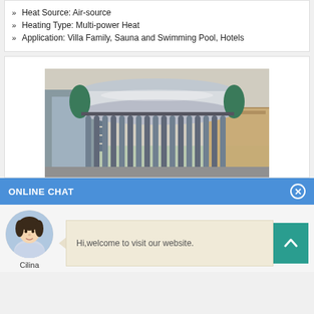Heat Source: Air-source
Heating Type: Multi-power Heat
Application: Villa Family, Sauna and Swimming Pool, Hotels
[Figure (photo): Solar water heater with cylindrical tank on top and evacuated tube collectors below, displayed indoors]
ONLINE CHAT
[Figure (photo): Avatar photo of a woman named Cilina]
Hi,welcome to visit our website.
Cilina